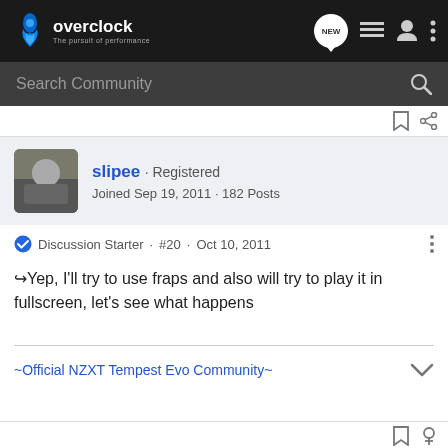[Figure (screenshot): Overclock.net logo with flame icon and tagline 'The pursuit of performance' on dark navigation bar with NEW bubble icon, list icon, user icon, and more options icon]
[Figure (screenshot): Search Community input bar with magnifying glass icon on dark background]
[Figure (screenshot): Toolbar row with bookmark and share icons]
slipee · Registered
Joined Sep 19, 2011 · 182 Posts
Discussion Starter · #20 · Oct 10, 2011
Yep, I'll try to use fraps and also will try to play it in fullscreen, let's see what happens
~Official NZXT Tempest Evo Community~